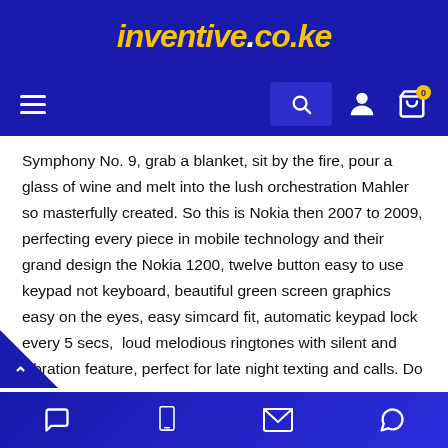inventive.co.ke
[Figure (screenshot): Website navigation bar with hamburger menu, search icon, user account icon, and cart icon with badge showing 0]
Symphony No. 9, grab a blanket, sit by the fire, pour a glass of wine and melt into the lush orchestration Mahler so masterfully created. So this is Nokia then 2007 to 2009, perfecting every piece in mobile technology and their grand design the Nokia 1200, twelve button easy to use keypad not keyboard, beautiful green screen graphics easy on the eyes, easy simcard fit, automatic keypad lock every 5 secs,  loud melodious ringtones with silent and vibration feature, perfect for late night texting and calls. Do not forget 390 hrs Stand by time, 420 min talktime and compact no extra accessories. An ideal phone and
Chat | Phone | Email | WhatsApp